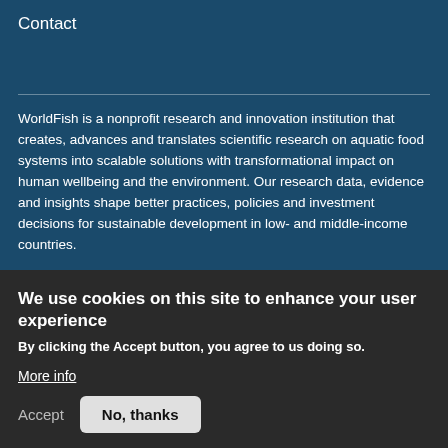Contact
WorldFish is a nonprofit research and innovation institution that creates, advances and translates scientific research on aquatic food systems into scalable solutions with transformational impact on human wellbeing and the environment. Our research data, evidence and insights shape better practices, policies and investment decisions for sustainable development in low- and middle-income countries.
Subscribe
We use cookies on this site to enhance your user experience
By clicking the Accept button, you agree to us doing so.
More info
Accept
No, thanks